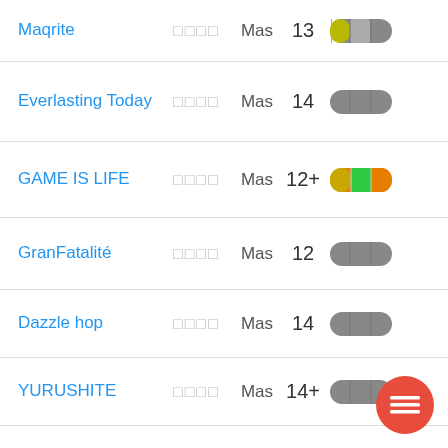Maqrite | □□□□ | Mas | 13
Everlasting Today | □□□□ | Mas | 14
GAME IS LIFE | □□□□ | Mas | 12+
GranFatalité | □□□□ | Mas | 12
Dazzle hop | □□□□ | Mas | 14
YURUSHITE | □□□□ | Mas | 14+
Opfer | □□□□ | Mas | 15